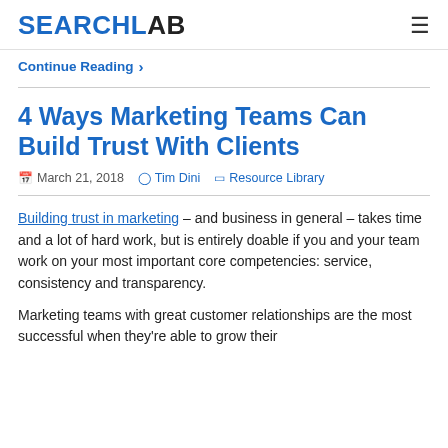SEARCHLAB
Continue Reading >
4 Ways Marketing Teams Can Build Trust With Clients
March 21, 2018   Tim Dini   Resource Library
Building trust in marketing – and business in general – takes time and a lot of hard work, but is entirely doable if you and your team work on your most important core competencies: service, consistency and transparency.
Marketing teams with great customer relationships are the most successful when they're able to grow their